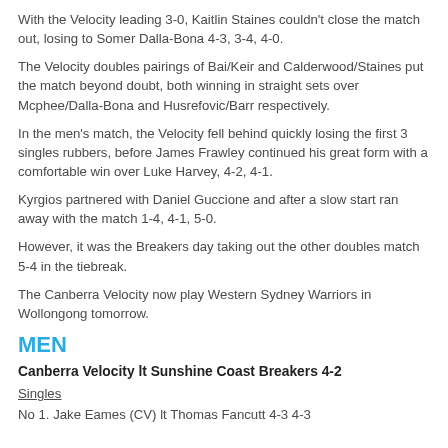With the Velocity leading 3-0, Kaitlin Staines couldn't close the match out, losing to Somer Dalla-Bona 4-3, 3-4, 4-0.
The Velocity doubles pairings of Bai/Keir and Calderwood/Staines put the match beyond doubt, both winning in straight sets over Mcphee/Dalla-Bona and Husrefovic/Barr respectively.
In the men's match, the Velocity fell behind quickly losing the first 3 singles rubbers, before James Frawley continued his great form with a comfortable win over Luke Harvey, 4-2, 4-1.
Kyrgios partnered with Daniel Guccione and after a slow start ran away with the match 1-4, 4-1, 5-0.
However, it was the Breakers day taking out the other doubles match 5-4 in the tiebreak.
The Canberra Velocity now play Western Sydney Warriors in Wollongong tomorrow.
MEN
Canberra Velocity lt Sunshine Coast Breakers 4-2
Singles
No 1. Jake Eames (CV) lt Thomas Fancutt 4-3 4-3